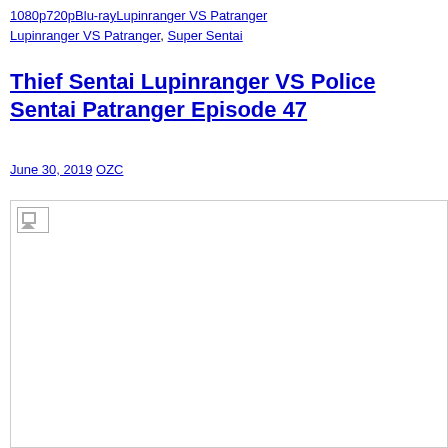1080p720pBlu-rayLupinranger VS Patranger
Lupinranger VS Patranger, Super Sentai
Thief Sentai Lupinranger VS Police Sentai Patranger Episode 47
June 30, 2019 OZC
[Figure (photo): Broken/unavailable image placeholder]